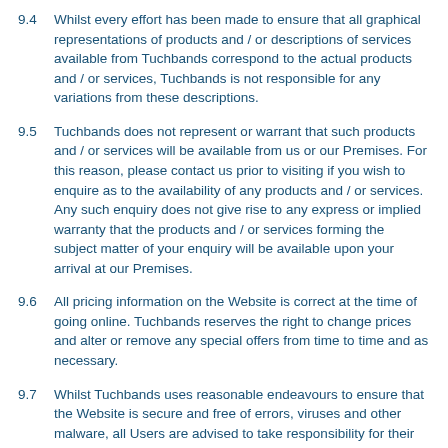9.4 Whilst every effort has been made to ensure that all graphical representations of products and / or descriptions of services available from Tuchbands correspond to the actual products and / or services, Tuchbands is not responsible for any variations from these descriptions.
9.5 Tuchbands does not represent or warrant that such products and / or services will be available from us or our Premises. For this reason, please contact us prior to visiting if you wish to enquire as to the availability of any products and / or services. Any such enquiry does not give rise to any express or implied warranty that the products and / or services forming the subject matter of your enquiry will be available upon your arrival at our Premises.
9.6 All pricing information on the Website is correct at the time of going online. Tuchbands reserves the right to change prices and alter or remove any special offers from time to time and as necessary.
9.7 Whilst Tuchbands uses reasonable endeavours to ensure that the Website is secure and free of errors, viruses and other malware, all Users are advised to take responsibility for their own security, that of their personal details and their